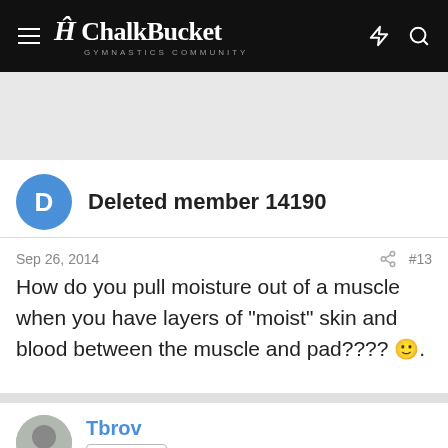ChalkBucket GYMNASTICS COMMUNITY
Deleted member 14190
Sep 26, 2014  #13
How do you pull moisture out of a muscle when you have layers of "moist" skin and blood between the muscle and pad???? 🙂.
Tbrov
Proud Parent